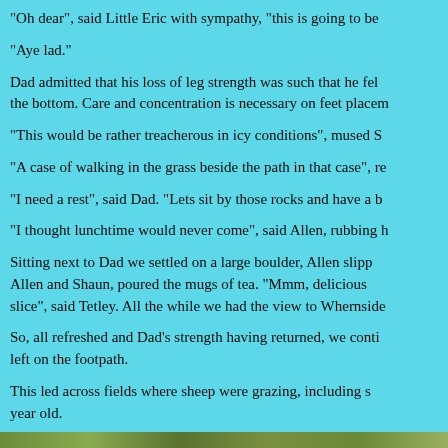"Oh dear", said Little Eric with sympathy, "this is going to be
"Aye lad."
Dad admitted that his loss of leg strength was such that he fel the bottom. Care and concentration is necessary on feet placem
"This would be rather treacherous in icy conditions", mused S
"A case of walking in the grass beside the path in that case", re
"I need a rest", said Dad. "Lets sit by those rocks and have a b
"I thought lunchtime would never come", said Allen, rubbing h
Sitting next to Dad we settled on a large boulder, Allen slipp Allen and Shaun, poured the mugs of tea. "Mmm, delicious slice", said Tetley. All the while we had the view to Whernside
So, all refreshed and Dad's strength having returned, we conti left on the footpath.
This led across fields where sheep were grazing, including s year old.
[Figure (photo): Partial photo strip visible at the bottom of the page showing a green outdoor scene]